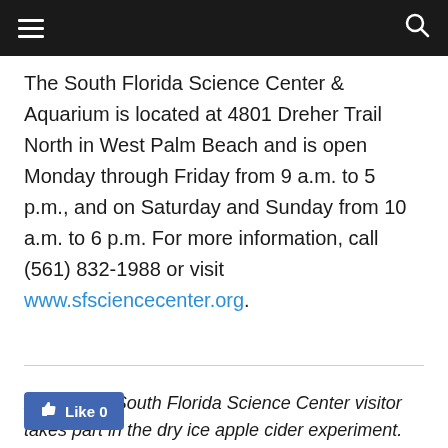Navigation bar with hamburger menu and search icon
The South Florida Science Center & Aquarium is located at 4801 Dreher Trail North in West Palm Beach and is open Monday through Friday from 9 a.m. to 5 p.m., and on Saturday and Sunday from 10 a.m. to 6 p.m. For more information, call (561) 832-1988 or visit www.sfsciencecenter.org.
ABOVE: A South Florida Science Center visitor takes part in the dry ice apple cider experiment.
Like 0